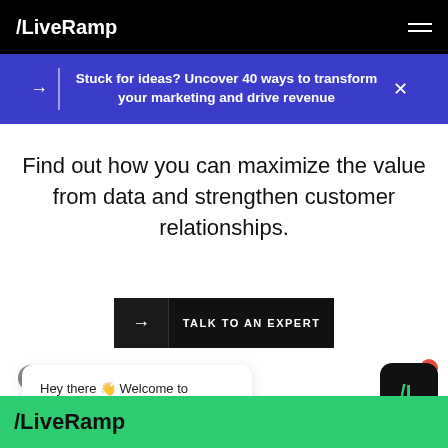/LiveRamp
Stuck for ideas? Uncover 40 ways to transform your marketing and drive revenue
Find out how you can maximize the value from data and strengthen customer relationships.
→ TALK TO AN EXPERT
Hey there 👋 Welcome to LiveRamp! How can I help you today?
/LiveRamp